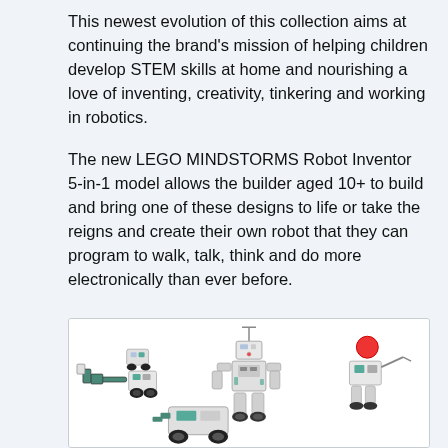This newest evolution of this collection aims at continuing the brand's mission of helping children develop STEM skills at home and nourishing a love of inventing, creativity, tinkering and working in robotics.
The new LEGO MINDSTORMS Robot Inventor 5-in-1 model allows the builder aged 10+ to build and bring one of these designs to life or take the reigns and create their own robot that they can program to walk, talk, think and do more electronically than ever before.
[Figure (photo): Photo of multiple LEGO MINDSTORMS Robot Inventor robots: a central humanoid robot, smaller wheeled robots on the left, a robot with a red ball head on the upper right, and a larger wheeled vehicle at the bottom.]